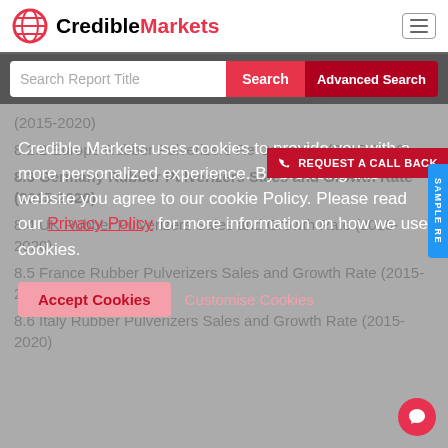CredibleMarkets
Search Report Title | Search | Advanced Search
(2015-2020)
8.2.2 Europe Rubber Pulverizers Re... Countries (2015-2020)
8.3 Germany Rubber Pulverizers Sales and Growth Rate (2015-2020)
8.4 UK Rubber Pulverizers Sales and Growth Rate (2015-2020)
8.5 France Rubber Pulverizers Sales and Growth Rate (2015-2020)
8.6 Italy Rubber Pulverizers Sales and Growth Rate (2015-2020)
Credible Markets uses cookies to provide you with a more personalized experience. By browsing this website you agree to our cookie Policy. Please read our Privacy Policy for more information on how we use cookies.